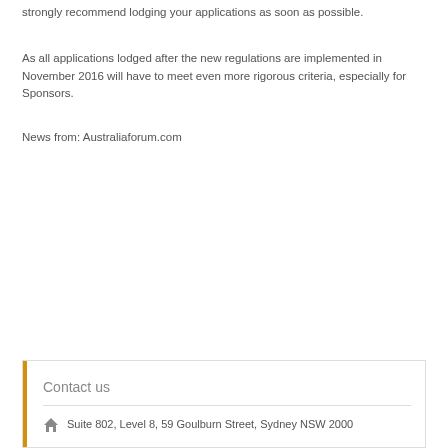strongly recommend lodging your applications as soon as possible.
As all applications lodged after the new regulations are implemented in November 2016 will have to meet even more rigorous criteria, especially for Sponsors.
News from: Australiaforum.com
Contact us
Suite 802, Level 8, 59 Goulburn Street, Sydney NSW 2000